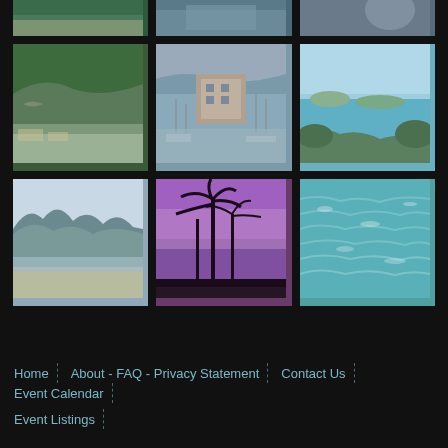[Figure (photo): Grid of 9 tropical/coastal landscape photos on dark background - top partial row + 2 full rows of 3 photos each showing beaches, marina with boats, tropical islands, palm trees at dusk, and ocean views]
Home | About - FAQ - Privacy Statement | Contact Us | Event Calendar | Event Listings |